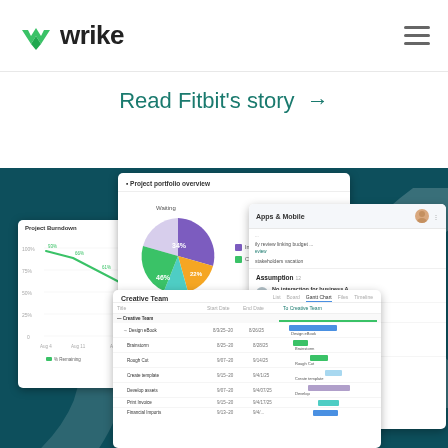Wrike
Read Fitbit's story →
[Figure (screenshot): Wrike app screenshot showing Project Burndown chart, Project portfolio overview with pie chart (Working, In-Progress, Completed), Creative Team Gantt chart, and Apps & Mobile task list with Assumptions and Issues sections.]